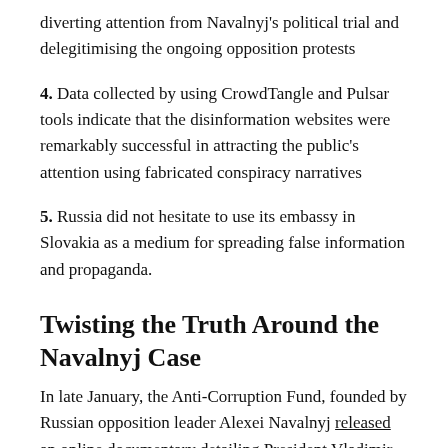diverting attention from Navalnyj's political trial and delegitimising the ongoing opposition protests
4. Data collected by using CrowdTangle and Pulsar tools indicate that the disinformation websites were remarkably successful in attracting the public's attention using fabricated conspiracy narratives
5. Russia did not hesitate to use its embassy in Slovakia as a medium for spreading false information and propaganda.
Twisting the Truth Around the Navalnyj Case
In late January, the Anti-Corruption Fund, founded by Russian opposition leader Alexei Navalnyj released an online documentary detailing President Vladimir Putin's alleged corruption schemes and a private luxury mansion on the coast of the black sea. The nearly two-hour-long documentary